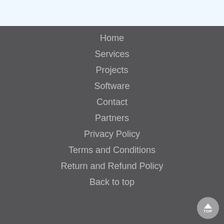Home
Services
Projects
Software
Contact
Partners
Privacy Policy
Terms and Conditions
Return and Refund Policy
Back to top